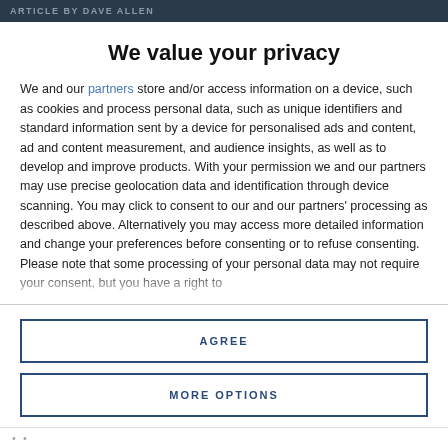ARTICLE BY DAVE ALLEN
We value your privacy
We and our partners store and/or access information on a device, such as cookies and process personal data, such as unique identifiers and standard information sent by a device for personalised ads and content, ad and content measurement, and audience insights, as well as to develop and improve products. With your permission we and our partners may use precise geolocation data and identification through device scanning. You may click to consent to our and our partners' processing as described above. Alternatively you may access more detailed information and change your preferences before consenting or to refuse consenting. Please note that some processing of your personal data may not require your consent, but you have a right to
AGREE
MORE OPTIONS